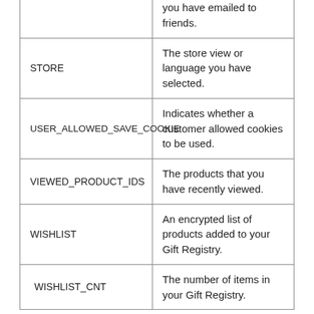| (partial top row) | you have emailed to friends. |
| STORE | The store view or language you have selected. |
| USER_ALLOWED_SAVE_COOKIE | Indicates whether a customer allowed cookies to be used. |
| VIEWED_PRODUCT_IDS | The products that you have recently viewed. |
| WISHLIST | An encrypted list of products added to your Gift Registry. |
| WISHLIST_CNT | The number of items in your Gift Registry. |